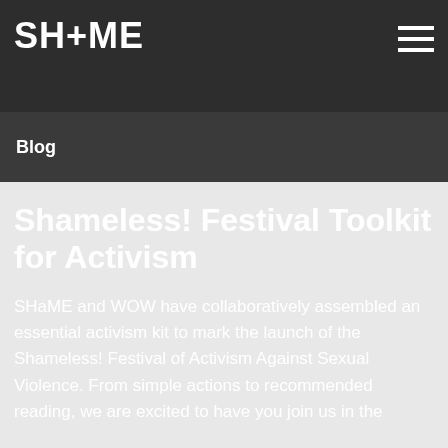SH+ME
Blog
Shameless! Festival Toolkit for Activism
SHaME and WOW have collaboratively assembled an essential activism kit to mark the launch of the Shameless! Festival of Activism Against Sexual Violence. From simple actions to recommended reading, we are excited to have you join us in the